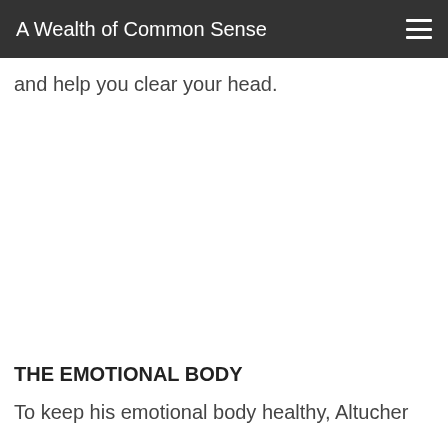A Wealth of Common Sense
and help you clear your head.
THE EMOTIONAL BODY
To keep his emotional body healthy, Altucher suggests only surrounding yourself with positive people and avoiding those who are constantly